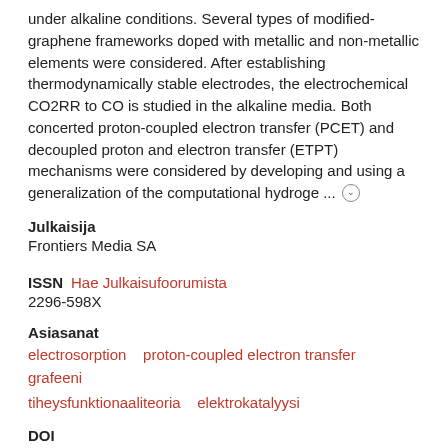under alkaline conditions. Several types of modified-graphene frameworks doped with metallic and non-metallic elements were considered. After establishing thermodynamically stable electrodes, the electrochemical CO2RR to CO is studied in the alkaline media. Both concerted proton-coupled electron transfer (PCET) and decoupled proton and electron transfer (ETPT) mechanisms were considered by developing and using a generalization of the computational hydroge ...
Julkaisija
Frontiers Media SA
ISSN
Hae Julkaisufoorumista
2296-598X
Asiasanat
electrosorption
proton-coupled electron transfer
grafeeni
tiheysfunktionaaliteoria
elektrokatalyysi
DOI
https://doi.org/10.3389/fenrg.2020.606742
URL